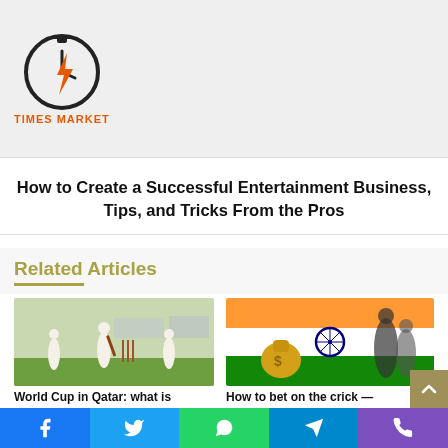[Figure (logo): Times Market logo — stopwatch icon with lightning bolt, orange text 'TIMES MARKET']
How to Create a Successful Entertainment Business, Tips, and Tricks From the Pros
Related Articles
[Figure (photo): Cricket players on a field — batsman and fielders in white uniforms]
World Cup in Qatar: what is known?
[Figure (photo): Indian flag with money bag and sports athletes composite image]
How to bet on the crick — some really effective
Social sharing bar: Facebook, Twitter, WhatsApp, Telegram, Phone